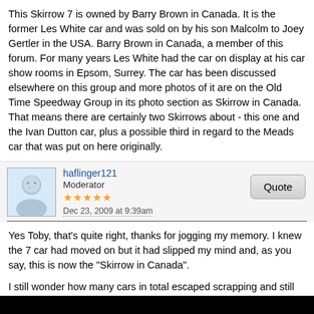This Skirrow 7 is owned by Barry Brown in Canada. It is the former Les White car and was sold on by his son Malcolm to Joey Gertler in the USA. Barry Brown in Canada, a member of this forum. For many years Les White had the car on display at his car show rooms in Epsom, Surrey. The car has been discussed elsewhere on this group and more photos of it are on the Old Time Speedway Group in its photo section as Skirrow in Canada. That means there are certainly two Skirrows about - this one and the Ivan Dutton car, plus a possible third in regard to the Meads car that was put on here originally.
haflinger121
Moderator
Dec 23, 2009 at 9:39am
Quote
Yes Toby, that's quite right, thanks for jogging my memory. I knew the 7 car had moved on but it had slipped my mind and, as you say, this is now the "Skirrow in Canada".
I still wonder how many cars in total escaped scrapping and still exist out there in the world, be they in Oz, NZ or just rusting in a barn here somewhere...
ezwalk43